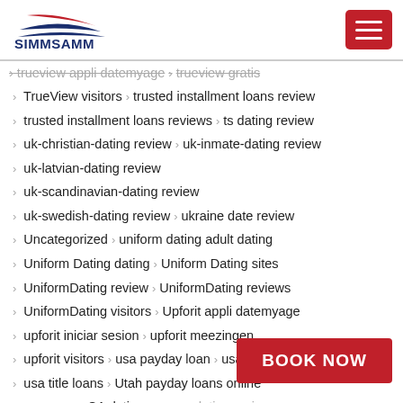SIMMSAMM
trueview appli datemyage  trueview gratis
TrueView visitors  trusted installment loans review
trusted installment loans reviews  ts dating review
uk-christian-dating review  uk-inmate-dating review
uk-latvian-dating review
uk-scandinavian-dating review
uk-swedish-dating review  ukraine date review
Uncategorized  uniform dating adult dating
Uniform Dating dating  Uniform Dating sites
UniformDating review  UniformDating reviews
UniformDating visitors  Upforit appli datemyage
upforit iniciar sesion  upforit meezingen
upforit visitors  usa payday loan  usa title loan
usa title loans  Utah payday loans online
vancouver CA dating  vegan dating review
Vermont payday loans online
victoria milan visitors  Vide